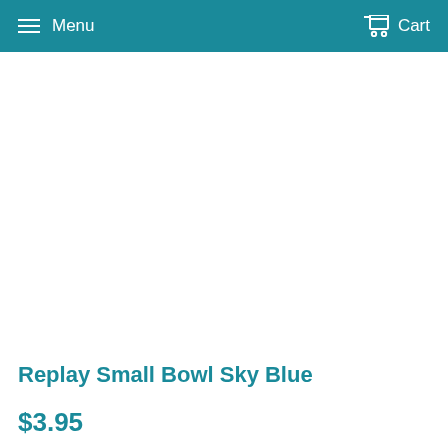Menu  Cart
[Figure (photo): White blank product image area for Replay Small Bowl Sky Blue]
Replay Small Bowl Sky Blue
$3.95